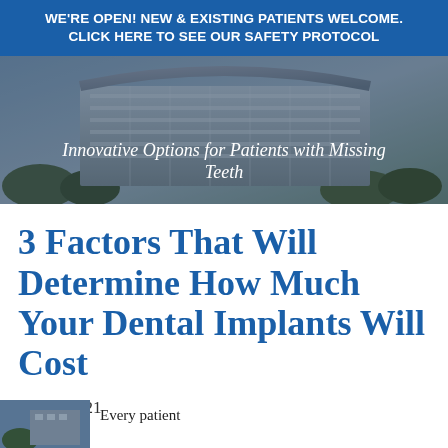WE'RE OPEN! NEW & EXISTING PATIENTS WELCOME. CLICK HERE TO SEE OUR SAFETY PROTOCOL
[Figure (photo): Aerial/exterior photo of a dental office building with modern architecture, overlaid with italic text: Innovative Options for Patients with Missing Teeth]
3 Factors That Will Determine How Much Your Dental Implants Will Cost
July 5, 2021
Every patient